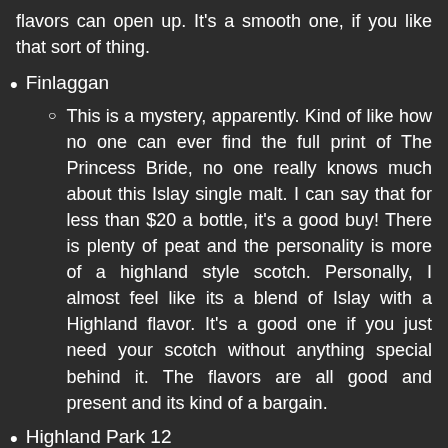flavors can open up. It's a smooth one, if you like that sort of thing.
Finlaggan
This is a mystery, apparently. Kind of like how no one can ever find the full print of The Princess Bride, no one really knows much about this Islay single malt. I can say that for less than $20 a bottle, it's a good buy! There is plenty of peat and the personality is more of a highland style scotch. Personally, I almost feel like its a blend of Islay with a Highland flavor. It's a good one if you just need your scotch without anything special behind it. The flavors are all good and present and its kind of a bargain.
Highland Park 12
Ahhhh. Highland Park. It's a